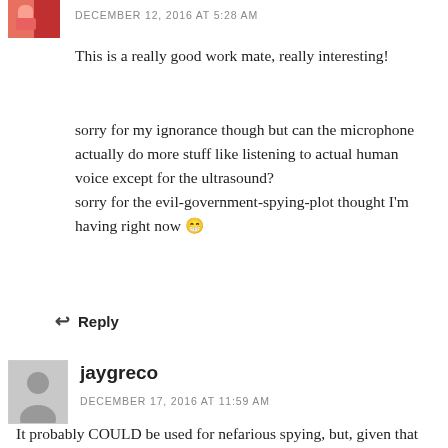[Figure (photo): Partial avatar image of commenter, colorful, cropped at top]
DECEMBER 12, 2016 AT 5:28 AM
This is a really good work mate, really interesting!
sorry for my ignorance though but can the microphone actually do more stuff like listening to actual human voice except for the ultrasound?
sorry for the evil-government-spying-plot thought I'm having right now 😁
↩ Reply
[Figure (photo): Gray avatar placeholder for commenter jaygreco]
jaygreco
DECEMBER 17, 2016 AT 11:59 AM
It probably COULD be used for nefarious spying, but, given that the microphone is disabled 99%